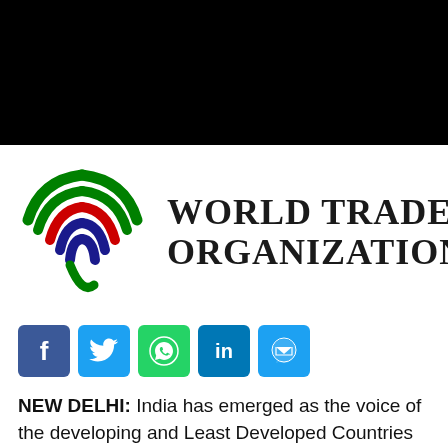[Figure (logo): World Trade Organization logo with colorful arc symbol and 'WORLD TRADE ORGANIZATION' text in serif font]
[Figure (infographic): Social media share buttons: Facebook, Twitter, WhatsApp, LinkedIn, Messenger]
NEW DELHI: India has emerged as the voice of the developing and Least Developed Countries (LDCs) in the